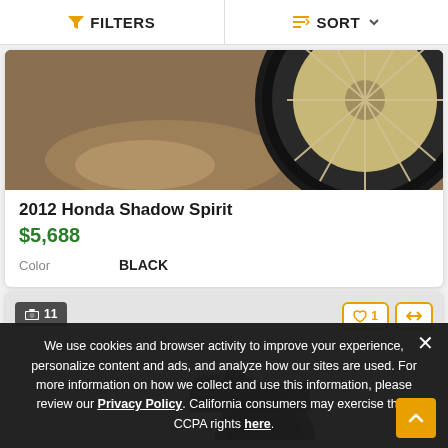FILTERS  SORT
[Figure (photo): Close-up of a motorcycle wire spoke wheel/tire on a brownish floor, partially visible at top of listing card]
2012 Honda Shadow Spirit
$5,688
Color    BLACK
[Figure (photo): Second vehicle listing card with image count badge showing 11 photos, heart/favorite button with count 1, and compare button. Partially visible motorcycle silhouette below.]
We use cookies and browser activity to improve your experience, personalize content and ads, and analyze how our sites are used. For more information on how we collect and use this information, please review our Privacy Policy. California consumers may exercise their CCPA rights here.